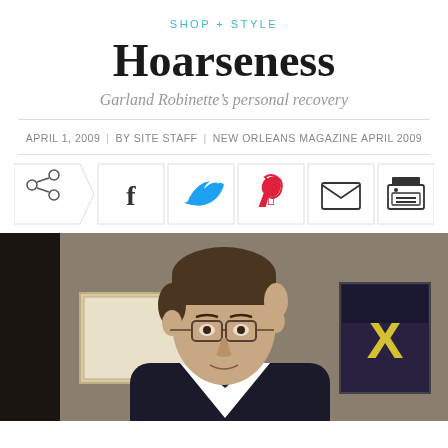SHOP + STYLE
Hoarseness
Garland Robinette's personal recovery
APRIL 1, 2009  |  BY SITE STAFF  |  NEW ORLEANS MAGAZINE APRIL 2009
[Figure (infographic): Row of social sharing buttons: share (arrow), Facebook (f), Twitter (bird), Pinterest (p), Email (envelope), Print (printer)]
[Figure (photo): Portrait photo of a middle-aged man with brown hair and glasses, wearing a dark suit, seated in an office with framed certificates and a poster visible behind him.]